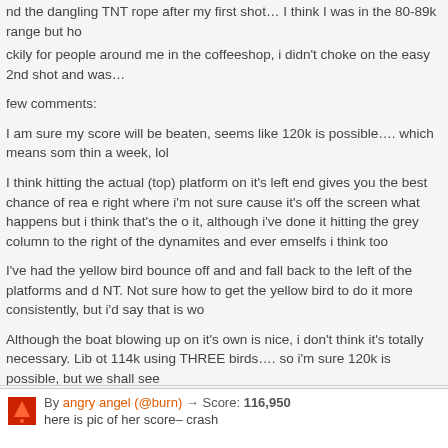nd the dangling TNT rope after my first shot… I think I was in the 80-89k range but ho
ckily for people around me in the coffeeshop, i didn't choke on the easy 2nd shot and was…
few comments:
I am sure my score will be beaten, seems like 120k is possible…. which means som thin a week, lol
I think hitting the actual (top) platform on it's left end gives you the best chance of rea e right where i'm not sure cause it's off the screen what happens but i think that's the o it, although i've done it hitting the grey column to the right of the dynamites and ever emselfs i think too
I've had the yellow bird bounce off and and fall back to the left of the platforms and d NT. Not sure how to get the yellow bird to do it more consistently, but i'd say that is wo
Although the boat blowing up on it's own is nice, i don't think it's totally necessary. Lib ot 114k using THREE birds…. so i'm sure 120k is possible, but we shall see
ood luck! ( and apologies to Pellystar )
By angry angel (@burn) → Score: 116,950
here is pic of her score– crash